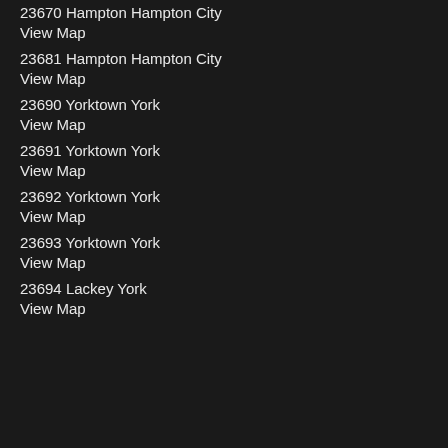23670 Hampton Hampton City
View Map
23681 Hampton Hampton City
View Map
23690 Yorktown York
View Map
23691 Yorktown York
View Map
23692 Yorktown York
View Map
23693 Yorktown York
View Map
23694 Lackey York
View Map